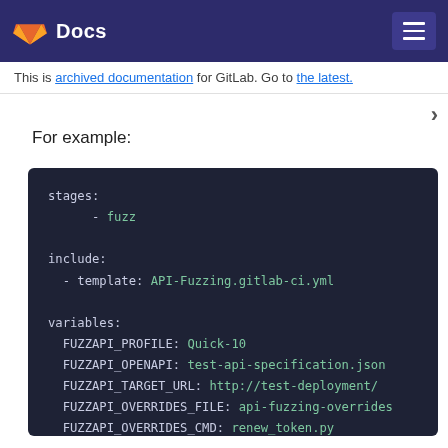Docs
This is archived documentation for GitLab. Go to the latest.
For example:
[Figure (screenshot): YAML code block showing GitLab CI configuration with stages, include template API-Fuzzing.gitlab-ci.yml, and variables: FUZZAPI_PROFILE: Quick-10, FUZZAPI_OPENAPI: test-api-specification.json, FUZZAPI_TARGET_URL: http://test-deployment/, FUZZAPI_OVERRIDES_FILE: api-fuzzing-overrides, FUZZAPI_OVERRIDES_CMD: renew_token.py]